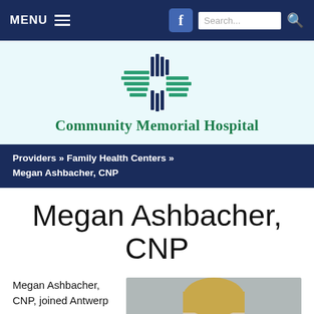MENU
[Figure (logo): Community Memorial Hospital logo with stylized cross/bars icon in teal and navy blue]
Community Memorial Hospital
Providers » Family Health Centers » Megan Ashbacher, CNP
Megan Ashbacher, CNP
Megan Ashbacher, CNP, joined Antwerp
[Figure (photo): Professional headshot of Megan Ashbacher, a woman with blonde hair]